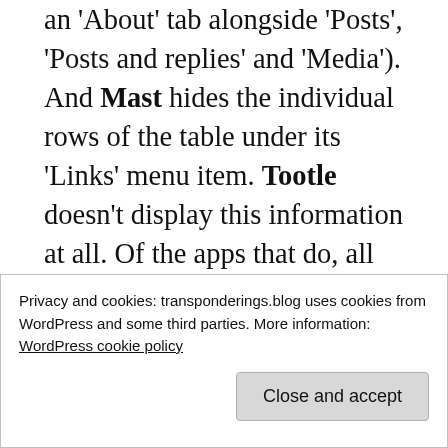an 'About' tab alongside 'Posts', 'Posts and replies' and 'Media'). And Mast hides the individual rows of the table under its 'Links' menu item. Tootle doesn't display this information at all. Of the apps that do, all but Mast and Mastodon indicate the 'verified' status of any web links. Only Toot! tells you when the link was verified.
All the apps have some way of showing you if you're following or requesting to follow the person, usually doubling up as the button to
Privacy and cookies: transponderings.blog uses cookies from WordPress and some third parties. More information: WordPress cookie policy
helpful. Mastodon and Mercury don't show